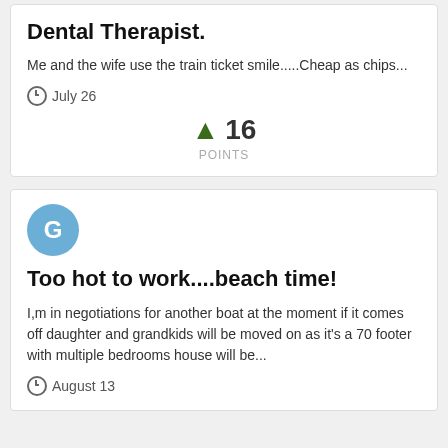Dental Therapist.
Me and the wife use the train ticket smile.....Cheap as chips...
July 26
16 POINTS
[Figure (illustration): Avatar circle with letter G in blue]
Too hot to work....beach time!
I,m in negotiations for another boat at the moment if it comes off daughter and grandkids will be moved on as it's a 70 footer with multiple bedrooms house will be...
August 13